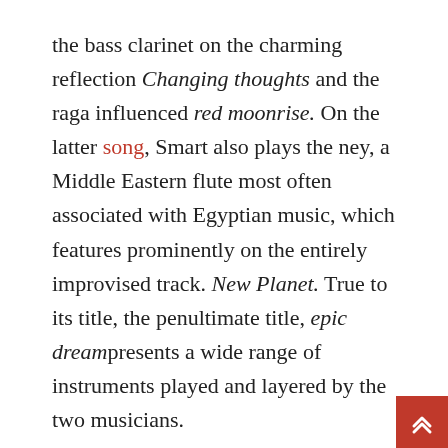the bass clarinet on the charming reflection Changing thoughts and the raga influenced red moonrise. On the latter song, Smart also plays the ney, a Middle Eastern flute most often associated with Egyptian music, which features prominently on the entirely improvised track. New Planet. True to its title, the penultimate title, epic dreampresents a wide range of instruments played and layered by the two musicians.
The title of the album, Tremors in the staticand the name of the duo, Vega trailsare inspired by the science fiction novel Contact by space